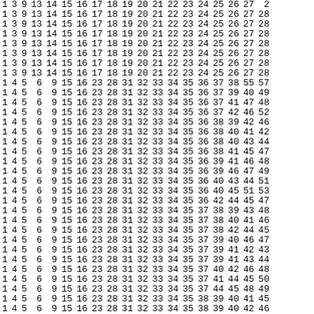| 1 | 3 | 9 | 13 | 14 | 15 | 16 | 17 | 18 | 19 | 20 | 21 | 22 | 23 | 24 | 25 | 26 | 27 | 2 |
| 1 | 3 | 9 | 13 | 14 | 15 | 16 | 17 | 18 | 19 | 20 | 21 | 22 | 23 | 24 | 25 | 26 | 27 | 28 |
| 1 | 3 | 9 | 13 | 14 | 15 | 16 | 17 | 18 | 19 | 20 | 21 | 22 | 23 | 24 | 25 | 26 | 27 | 28 |
| 1 | 3 | 9 | 13 | 14 | 15 | 16 | 17 | 18 | 19 | 20 | 21 | 22 | 23 | 24 | 25 | 26 | 27 | 28 |
| 1 | 3 | 9 | 13 | 14 | 15 | 16 | 17 | 18 | 19 | 20 | 21 | 22 | 23 | 24 | 25 | 26 | 27 | 28 |
| 1 | 3 | 9 | 13 | 14 | 15 | 16 | 17 | 18 | 19 | 20 | 21 | 22 | 23 | 24 | 25 | 26 | 27 | 28 |
| 1 | 3 | 9 | 13 | 14 | 15 | 16 | 17 | 18 | 19 | 20 | 21 | 22 | 23 | 24 | 25 | 26 | 27 | 28 |
| 1 | 3 | 9 | 13 | 14 | 15 | 16 | 17 | 18 | 19 | 20 | 21 | 22 | 23 | 24 | 25 | 26 | 27 | 28 |
| 1 | 4 | 5 | 6 | 9 | 15 | 16 | 23 | 28 | 31 | 32 | 33 | 34 | 35 | 36 | 37 | 38 | 55 | 57 |
| 1 | 4 | 5 | 6 | 9 | 15 | 16 | 23 | 28 | 31 | 32 | 33 | 34 | 35 | 36 | 37 | 39 | 40 | 49 |
| 1 | 4 | 5 | 6 | 9 | 15 | 16 | 23 | 28 | 31 | 32 | 33 | 34 | 35 | 36 | 37 | 41 | 47 | 48 |
| 1 | 4 | 5 | 6 | 9 | 15 | 16 | 23 | 28 | 31 | 32 | 33 | 34 | 35 | 36 | 37 | 42 | 46 | 52 |
| 1 | 4 | 5 | 6 | 9 | 15 | 16 | 23 | 28 | 31 | 32 | 33 | 34 | 35 | 36 | 38 | 39 | 42 | 46 |
| 1 | 4 | 5 | 6 | 9 | 15 | 16 | 23 | 28 | 31 | 32 | 33 | 34 | 35 | 36 | 38 | 40 | 41 | 42 |
| 1 | 4 | 5 | 6 | 9 | 15 | 16 | 23 | 28 | 31 | 32 | 33 | 34 | 35 | 36 | 38 | 40 | 43 | 44 |
| 1 | 4 | 5 | 6 | 9 | 15 | 16 | 23 | 28 | 31 | 32 | 33 | 34 | 35 | 36 | 38 | 41 | 45 | 47 |
| 1 | 4 | 5 | 6 | 9 | 15 | 16 | 23 | 28 | 31 | 32 | 33 | 34 | 35 | 36 | 39 | 41 | 46 | 48 |
| 1 | 4 | 5 | 6 | 9 | 15 | 16 | 23 | 28 | 31 | 32 | 33 | 34 | 35 | 36 | 39 | 46 | 47 | 49 |
| 1 | 4 | 5 | 6 | 9 | 15 | 16 | 23 | 28 | 31 | 32 | 33 | 34 | 35 | 36 | 40 | 43 | 44 | 51 |
| 1 | 4 | 5 | 6 | 9 | 15 | 16 | 23 | 28 | 31 | 32 | 33 | 34 | 35 | 36 | 40 | 45 | 51 | 53 |
| 1 | 4 | 5 | 6 | 9 | 15 | 16 | 23 | 28 | 31 | 32 | 33 | 34 | 35 | 36 | 42 | 44 | 45 | 47 |
| 1 | 4 | 5 | 6 | 9 | 15 | 16 | 23 | 28 | 31 | 32 | 33 | 34 | 35 | 37 | 38 | 39 | 43 | 48 |
| 1 | 4 | 5 | 6 | 9 | 15 | 16 | 23 | 28 | 31 | 32 | 33 | 34 | 35 | 37 | 38 | 40 | 41 | 46 |
| 1 | 4 | 5 | 6 | 9 | 15 | 16 | 23 | 28 | 31 | 32 | 33 | 34 | 35 | 37 | 38 | 42 | 44 | 45 |
| 1 | 4 | 5 | 6 | 9 | 15 | 16 | 23 | 28 | 31 | 32 | 33 | 34 | 35 | 37 | 39 | 40 | 46 | 47 |
| 1 | 4 | 5 | 6 | 9 | 15 | 16 | 23 | 28 | 31 | 32 | 33 | 34 | 35 | 37 | 39 | 41 | 42 | 43 |
| 1 | 4 | 5 | 6 | 9 | 15 | 16 | 23 | 28 | 31 | 32 | 33 | 34 | 35 | 37 | 39 | 41 | 43 | 44 |
| 1 | 4 | 5 | 6 | 9 | 15 | 16 | 23 | 28 | 31 | 32 | 33 | 34 | 35 | 37 | 40 | 42 | 46 | 48 |
| 1 | 4 | 5 | 6 | 9 | 15 | 16 | 23 | 28 | 31 | 32 | 33 | 34 | 35 | 37 | 41 | 44 | 45 | 50 |
| 1 | 4 | 5 | 6 | 9 | 15 | 16 | 23 | 28 | 31 | 32 | 33 | 34 | 35 | 37 | 44 | 45 | 48 | 49 |
| 1 | 4 | 5 | 6 | 9 | 15 | 16 | 23 | 28 | 31 | 32 | 33 | 34 | 35 | 38 | 39 | 40 | 41 | 45 |
| 1 | 4 | 5 | 6 | 9 | 15 | 16 | 23 | 28 | 31 | 32 | 33 | 34 | 35 | 38 | 39 | 40 | 42 | 46 |